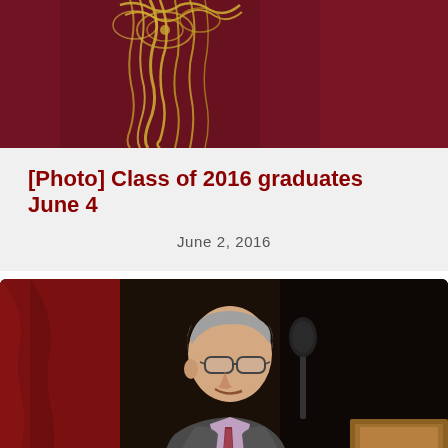[Figure (photo): Close-up photo of graduation regalia — dark red/maroon fabric with gold embroidery, likely a graduation cap or gown detail with gold tassel.]
[Photo] Class of 2016 graduates June 4
June 2, 2016
[Figure (photo): An older man with glasses and gray hair speaking at a wooden podium with a microphone. He is wearing a gray suit with a pink/lavender shirt and a patterned tie. Red curtains are visible in the background. This appears to be a graduation ceremony speaker.]